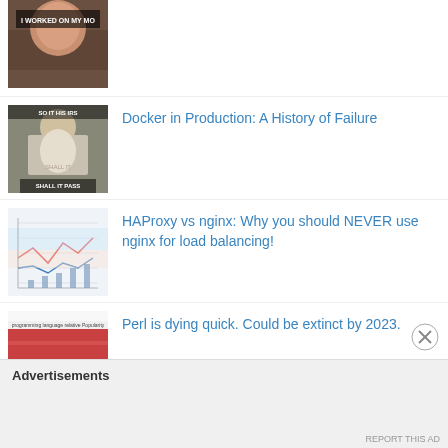[Figure (photo): Partially visible meme image at top, person with text 'I WORKED ON MY MO...']
[Figure (photo): Meme image of a wizard/Gandalf figure with text overlay 'SHALL IT PASS' style]
Docker in Production: A History of Failure
[Figure (other): Chart/graph thumbnail showing lines on light blue background]
HAProxy vs nginx: Why you should NEVER use nginx for load balancing!
[Figure (stacked-bar-chart): Stacked area/bar chart showing programming language popularity over time with red, blue, purple bands]
Perl is dying quick. Could be extinct by 2023.
Advertisements
REPORT THIS AD